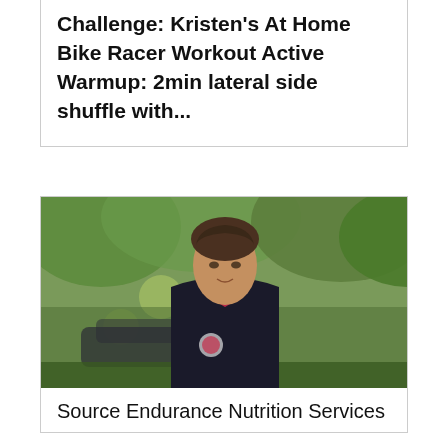Challenge: Kristen's At Home Bike Racer Workout Active Warmup: 2min lateral side shuffle with...
[Figure (photo): A woman wearing a dark athletic jacket with a pink collar and a logo on the chest, standing outdoors with blurred green trees and a car in the background.]
Source Endurance Nutrition Services